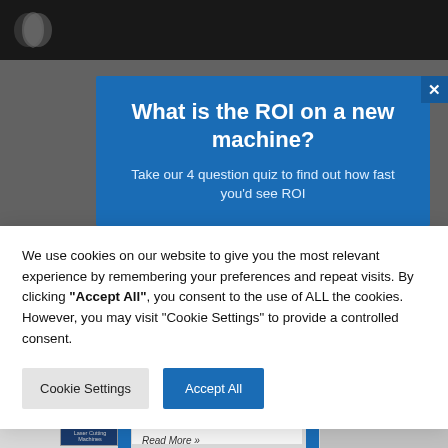[Figure (screenshot): Website header with dark background and logo]
[Figure (screenshot): Blue promotional modal popup asking 'What is the ROI on a new machine?' with subtitle 'Take our 4 question quiz to find out how fast you'd see ROI' and a close X button]
We use cookies on our website to give you the most relevant experience by remembering your preferences and repeat visits. By clicking “Accept All”, you consent to the use of ALL the cookies. However, you may visit "Cookie Settings" to provide a controlled consent.
Cookie Settings
Accept All
[Figure (screenshot): Bottom partial view of website with blue sidebars, book thumbnail, and card showing 'Current Machine' label, 'between Smart & Dumb Series Laser Cutting Machines' title, and 'Read More »' link]